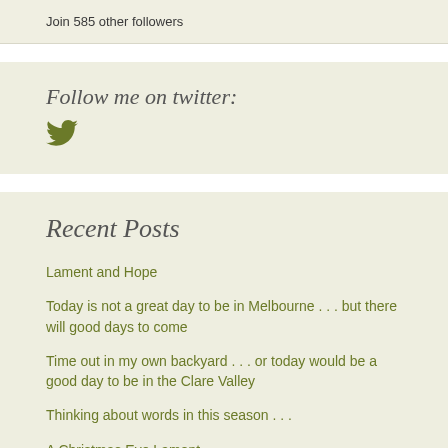Join 585 other followers
Follow me on twitter:
[Figure (illustration): Twitter bird icon in olive/dark yellow-green color]
Recent Posts
Lament and Hope
Today is not a great day to be in Melbourne . . . but there will good days to come
Time out in my own backyard . . . or today would be a good day to be in the Clare Valley
Thinking about words in this season . . .
A Christmas Eve Lament